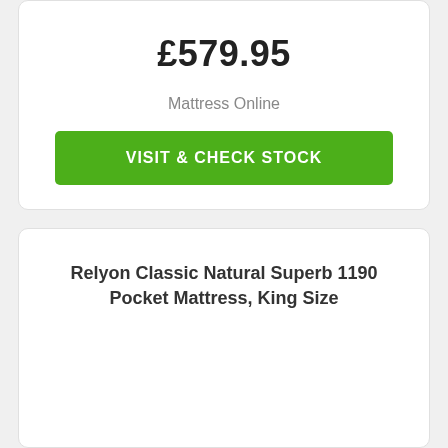£579.95
Mattress Online
VISIT & CHECK STOCK
Relyon Classic Natural Superb 1190 Pocket Mattress, King Size